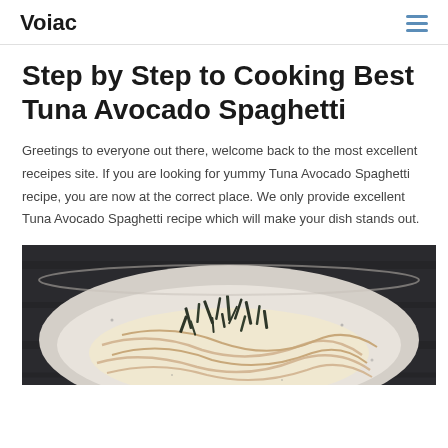Voiac
Step by Step to Cooking Best Tuna Avocado Spaghetti
Greetings to everyone out there, welcome back to the most excellent receipes site. If you are looking for yummy Tuna Avocado Spaghetti recipe, you are now at the correct place. We only provide excellent Tuna Avocado Spaghetti recipe which will make your dish stands out.
[Figure (photo): A bowl of Tuna Avocado Spaghetti topped with shredded nori seaweed, served in a ceramic bowl on a dark wooden surface.]